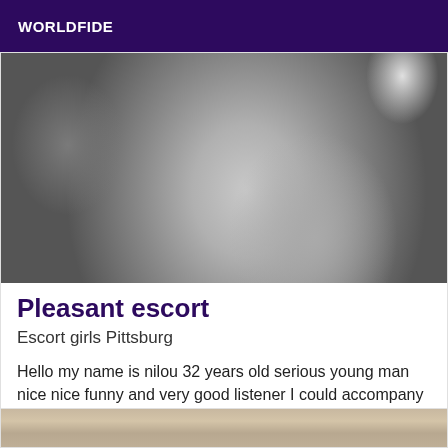WORLDFIDE
[Figure (photo): Close-up grayscale photo of a person wearing a gray knitted sweater or top, with a wristwatch visible at the right edge.]
Pleasant escort
Escort girls Pittsburg
Hello my name is nilou 32 years old serious young man nice nice funny and very good listener I could accompany you to various parties in order to bring you the most pleasant company. Looking forward to meeting you
[Figure (photo): Partial photo visible at bottom of page, appears to show a person's face/neck area in warm tones.]